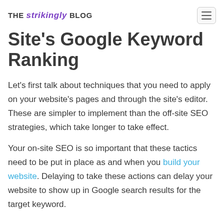THE strikingly BLOG
Site's Google Keyword Ranking
Let's first talk about techniques that you need to apply on your website's pages and through the site's editor. These are simpler to implement than the off-site SEO strategies, which take longer to take effect.
Your on-site SEO is so important that these tactics need to be put in place as and when you build your website. Delaying to take these actions can delay your website to show up in Google search results for the target keyword.